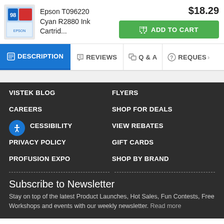[Figure (photo): Epson T096220 Cyan R2880 Ink Cartridge product image]
Epson T096220 Cyan R2880 Ink Cartrid...
$18.29
ADD TO CART
DESCRIPTION
REVIEWS
Q & A
REQUES
VISTEK BLOG
CAREERS
ACCESSIBILITY
PRIVACY POLICY
PROFUSION EXPO
FLYERS
SHOP FOR DEALS
VIEW REBATES
GIFT CARDS
SHOP BY BRAND
Subscribe to Newsletter
Stay on top of the latest Product Launches, Hot Sales, Fun Contests, Free Workshops and events with our weekly newsletter. Read more